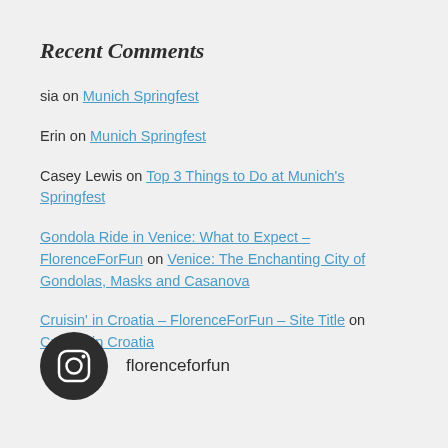Recent Comments
sia on Munich Springfest
Erin on Munich Springfest
Casey Lewis on Top 3 Things to Do at Munich's Springfest
Gondola Ride in Venice: What to Expect – FlorenceForFun on Venice: The Enchanting City of Gondolas, Masks and Casanova
Cruisin' in Croatia – FlorenceForFun – Site Title on Cruisin' in Croatia
[Figure (logo): Instagram logo icon (dark circle with camera outline) followed by text 'florenceforfun']